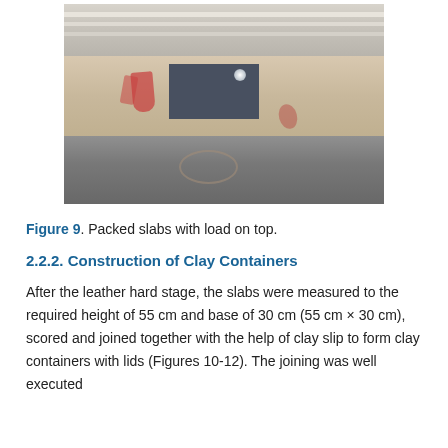[Figure (photo): Photograph of packed clay slabs stacked horizontally with a load placed on top. The slabs appear to be in a workshop or construction area. Red markings are visible on some slabs. A dark window or opening is visible in the background.]
Figure 9. Packed slabs with load on top.
2.2.2. Construction of Clay Containers
After the leather hard stage, the slabs were measured to the required height of 55 cm and base of 30 cm (55 cm × 30 cm), scored and joined together with the help of clay slip to form clay containers with lids (Figures 10-12). The joining was well executed